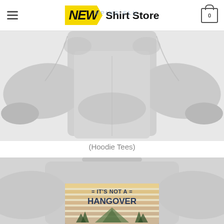NEW Shirt Store
[Figure (photo): White hoodie sweatshirt product photo, lower portion showing front pouch pocket and body hem, light gray background]
(Hoodie Tees)
[Figure (photo): Gray crew-neck sweatshirt product photo showing graphic design text reading IT'S NOT A HANGOVER with camping scene, horizontal vintage stripes]